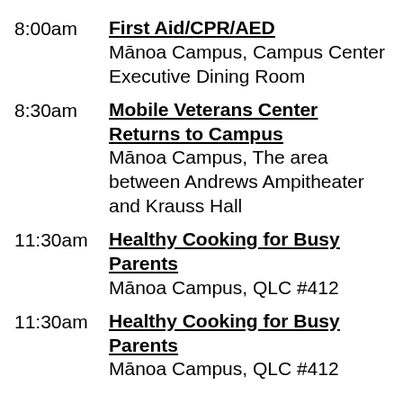8:00am — First Aid/CPR/AED — Mānoa Campus, Campus Center Executive Dining Room
8:30am — Mobile Veterans Center Returns to Campus — Mānoa Campus, The area between Andrews Ampitheater and Krauss Hall
11:30am — Healthy Cooking for Busy Parents — Mānoa Campus, QLC #412
11:30am — Healthy Cooking for Busy Parents — Mānoa Campus, QLC #412